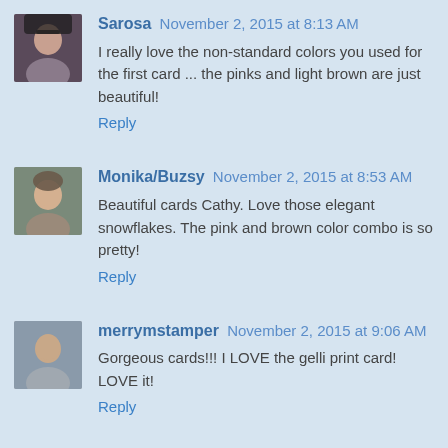Sarosa — November 2, 2015 at 8:13 AM
I really love the non-standard colors you used for the first card ... the pinks and light brown are just beautiful!
Reply
Monika/Buzsy — November 2, 2015 at 8:53 AM
Beautiful cards Cathy. Love those elegant snowflakes. The pink and brown color combo is so pretty!
Reply
merrymstamper — November 2, 2015 at 9:06 AM
Gorgeous cards!!! I LOVE the gelli print card! LOVE it!
Reply
Cards By Jan — November 2, 2015 at 10:46 AM
Beautiful cards Cathy...I love all the new images and dies,